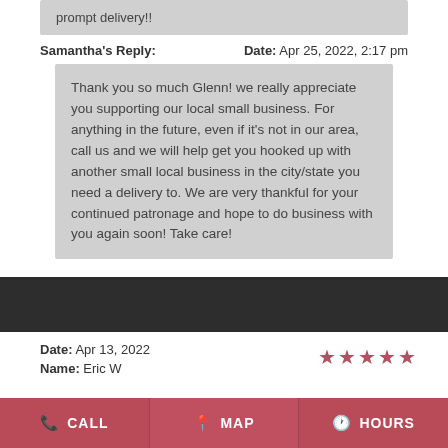prompt delivery!!
Samantha's Reply:    Date: Apr 25, 2022, 2:17 pm
Thank you so much Glenn! we really appreciate you supporting our local small business. For anything in the future, even if it's not in our area, call us and we will help get you hooked up with another small local business in the city/state you need a delivery to. We are very thankful for your continued patronage and hope to do business with you again soon! Take care!
Date: Apr 13, 2022
Name: Eric W
[Figure (other): Five star rating icons (stars)]
CALL   MAP   HOURS